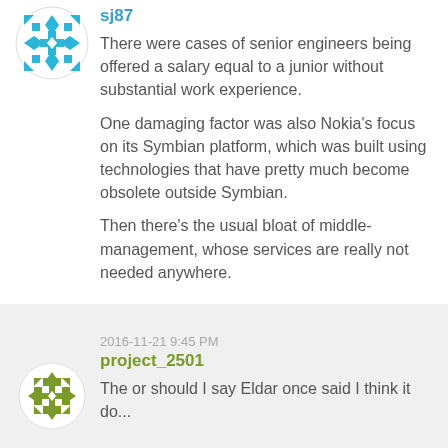[Figure (illustration): Blue geometric snowflake/quilt pattern avatar icon in a circle]
sj87
There were cases of senior engineers being offered a salary equal to a junior without substantial work experience.
One damaging factor was also Nokia's focus on its Symbian platform, which was built using technologies that have pretty much become obsolete outside Symbian.
Then there's the usual bloat of middle-management, whose services are really not needed anywhere.
2016-11-21 9:45 PM
project_2501
[Figure (illustration): Olive/green geometric quilt pattern avatar icon in a circle, partially visible]
The or should I say Eldar once said I think it do...